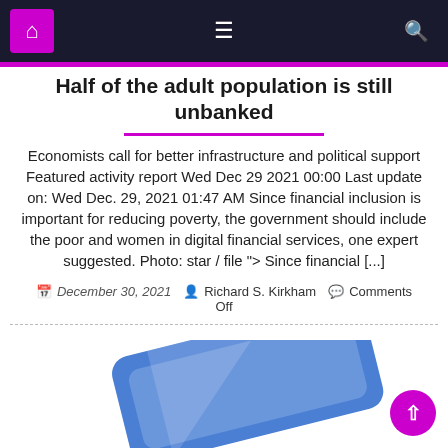Navigation bar with home, menu, and search icons
Half of the adult population is still unbanked
Economists call for better infrastructure and political support Featured activity report Wed Dec 29 2021 00:00 Last update on: Wed Dec. 29, 2021 01:47 AM Since financial inclusion is important for reducing poverty, the government should include the poor and women in digital financial services, one expert suggested. Photo: star / file "> Since financial [...]
December 30, 2021  Richard S. Kirkham  Comments Off
[Figure (illustration): Blue credit/debit card illustration at the bottom of the page with a magenta circular button with upward chevron]